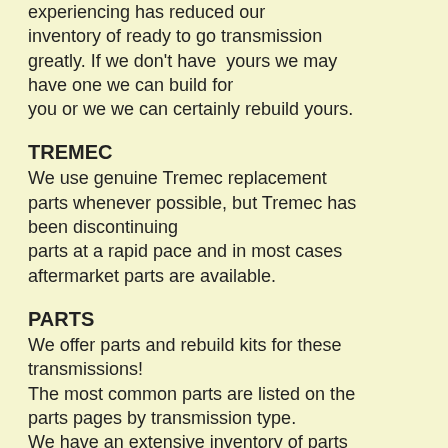experiencing has reduced our inventory of ready to go transmission greatly. If we don't have yours we may have one we can build for you or we we can certainly rebuild yours.
TREMEC
We use genuine Tremec replacement parts whenever possible, but Tremec has been discontinuing parts at a rapid pace and in most cases aftermarket parts are available.
PARTS
We offer parts and rebuild kits for these transmissions! The most common parts are listed on the parts pages by transmission type. We have an extensive inventory of parts that are not on the website but contact us for details. To order parts, use the Contact Us page. We can complete the order using email or phone. Major credit cards are accepted as well as PayPal.